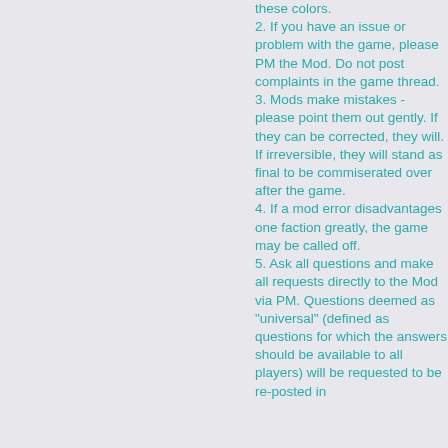these colors.
2. If you have an issue or problem with the game, please PM the Mod. Do not post complaints in the game thread.
3. Mods make mistakes - please point them out gently. If they can be corrected, they will. If irreversible, they will stand as final to be commiserated over after the game.
4. If a mod error disadvantages one faction greatly, the game may be called off.
5. Ask all questions and make all requests directly to the Mod via PM. Questions deemed as "universal" (defined as questions for which the answers should be available to all players) will be requested to be re-posted in